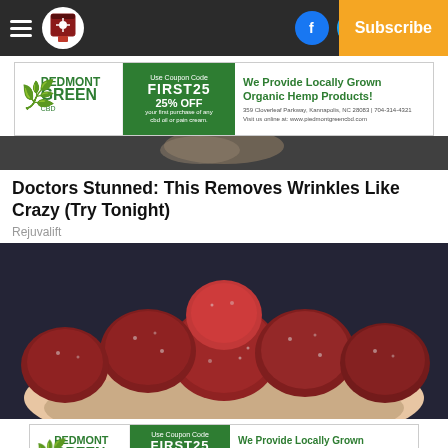Navigation bar with hamburger menu, logo, Facebook icon, Twitter icon, Log In, Subscribe
[Figure (photo): Pedmont Green CBD advertisement banner: logo on left, green section with 'Use Coupon Code FIRST25 Receive 25% OFF your first purchase of any cbd oil or pain cream.', right side 'We Provide Locally Grown Organic Hemp Products!' with address and website]
[Figure (photo): Partial view of person's face, dark background, teaser strip for article]
Doctors Stunned: This Removes Wrinkles Like Crazy (Try Tonight)
Rejuvalift
[Figure (photo): Close-up photo of red/maroon sugar-coated gummy candies held in a person's hand, dark background]
[Figure (photo): Pedmont Green CBD advertisement banner (bottom): same as top ad with logo, coupon code FIRST25, 25% OFF, We Provide Locally Grown Organic Hemp Products! with address and website]